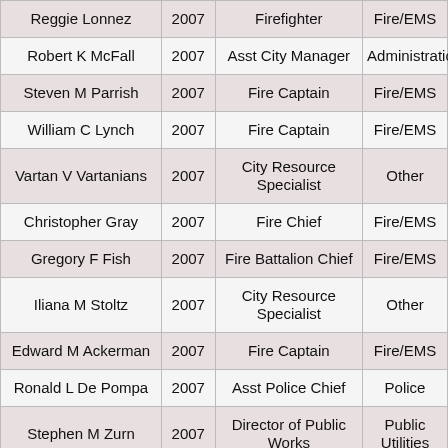| Name | Year | Title | Department |
| --- | --- | --- | --- |
| Reggie Lonnez | 2007 | Firefighter | Fire/EMS |
| Robert K McFall | 2007 | Asst City Manager | Administration |
| Steven M Parrish | 2007 | Fire Captain | Fire/EMS |
| William C Lynch | 2007 | Fire Captain | Fire/EMS |
| Vartan V Vartanians | 2007 | City Resource Specialist | Other |
| Christopher Gray | 2007 | Fire Chief | Fire/EMS |
| Gregory F Fish | 2007 | Fire Battalion Chief | Fire/EMS |
| Iliana M Stoltz | 2007 | City Resource Specialist | Other |
| Edward M Ackerman | 2007 | Fire Captain | Fire/EMS |
| Ronald L De Pompa | 2007 | Asst Police Chief | Police |
| Stephen M Zurn | 2007 | Director of Public Works | Public Utilities |
| Anthony Arellanes | 2007 | Fire Battalion Chief | Fire/EMS |
| Gregory E Godfrey | 2007 | Fire Captain, EMS | Fire/EMS |
| Mark F Berg | 2007 | Fire Captain | Fire/EMS |
| Steven L Howard | 2007 | Deputy Fire Chief | Fire/EMS |